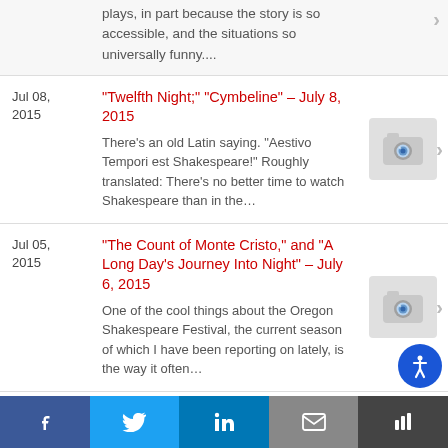plays, in part because the story is so accessible, and the situations so universally funny....
Jul 08, 2015
"Twelfth Night;" "Cymbeline" – July 8, 2015
There’s an old Latin saying. “Aestivo Tempori est Shakespeare!” Roughly translated: There’s no better time to watch Shakespeare than in the...
[Figure (photo): Camera placeholder image for Twelfth Night article]
Jul 05, 2015
"The Count of Monte Cristo," and "A Long Day’s Journey Into Night" – July 6, 2015
One of the cool things about the Oregon Shakespeare Festival, the current season of which I have been reporting on lately, is the way it often...
[Figure (photo): Camera placeholder image for Count of Monte Cristo article]
f | Twitter | in | Email | Share